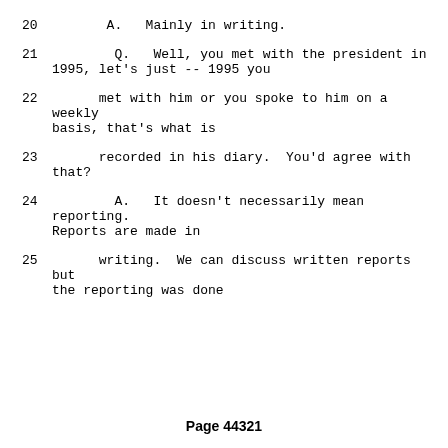20    A.   Mainly in writing.
21       Q.   Well, you met with the president in 1995, let's just -- 1995 you
22      met with him or you spoke to him on a weekly basis, that's what is
23      recorded in his diary.  You'd agree with that?
24       A.   It doesn't necessarily mean reporting. Reports are made in
25      writing.  We can discuss written reports but the reporting was done
Page 44321